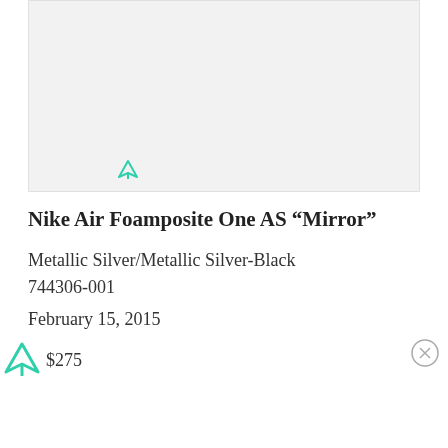[Figure (photo): Light gray rectangular image placeholder area with a small teal/green logo icon in the lower-left portion of the image area]
Nike Air Foamposite One AS “Mirror”
Metallic Silver/Metallic Silver-Black
744306-001
February 15, 2015
$275